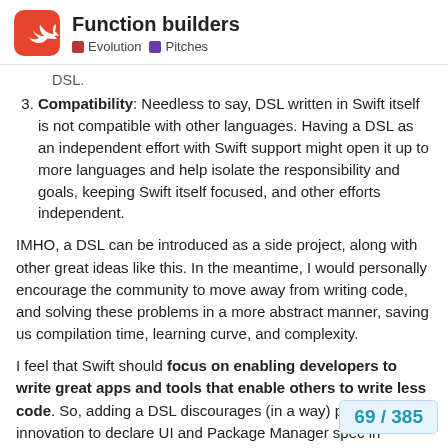Function builders — Evolution | Pitches
DSL.
Compatibility: Needless to say, DSL written in Swift itself is not compatible with other languages. Having a DSL as an independent effort with Swift support might open it up to more languages and help isolate the responsibility and goals, keeping Swift itself focused, and other efforts independent.
IMHO, a DSL can be introduced as a side project, along with other great ideas like this. In the meantime, I would personally encourage the community to move away from writing code, and solving these problems in a more abstract manner, saving us compilation time, learning curve, and complexity.
I feel that Swift should focus on enabling developers to write great apps and tools that enable others to write less code. So, adding a DSL discourages (in a way) possible innovation to declare UI and Package Manager spec in manner, not using code.
69 / 385